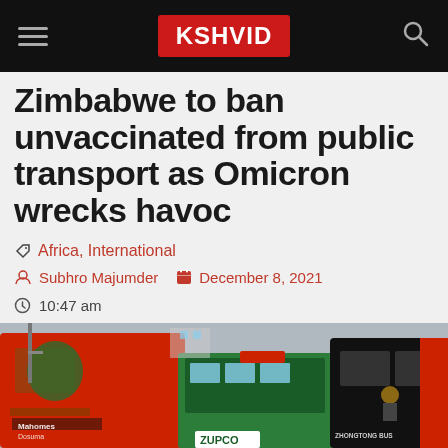KSHVID
Zimbabwe to ban unvaccinated from public transport as Omicron wrecks havoc
Africa, International
Subhro Majumder  December 8, 2021
10:47 am
[Figure (photo): Buses including a ZUPCO bus and Zhongtong Bus at a bus terminal in Zimbabwe]